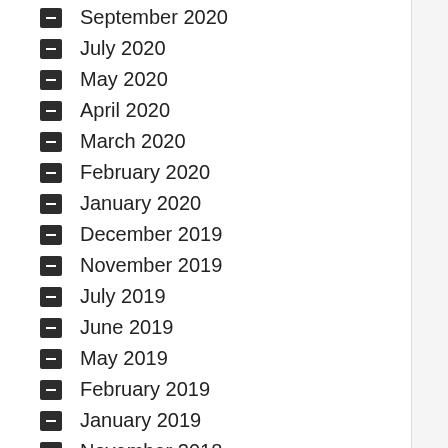September 2020
July 2020
May 2020
April 2020
March 2020
February 2020
January 2020
December 2019
November 2019
July 2019
June 2019
May 2019
February 2019
January 2019
November 2018